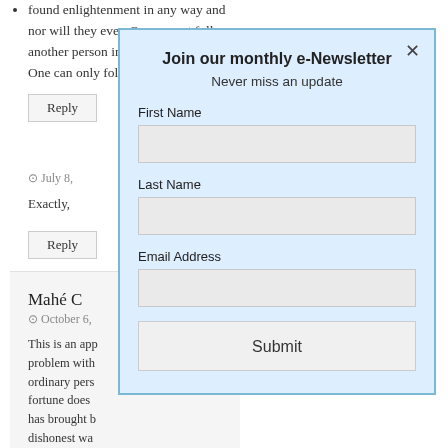found enlightenment in any way and nor will they ever. One cannot follow another person into enlightenment. One can only follow themselves.
Reply
A lo
July 8,
Exactly,
Reply
Mahé C
October 6,
This is an app problem with ordinary pers fortune does has brought b dishonest wa the person w
[Figure (screenshot): Modal popup for newsletter signup with fields for First Name, Last Name, Email Address, and a Submit button]
Join our monthly e-Newsletter
Never miss an update
First Name
Last Name
Email Address
Submit